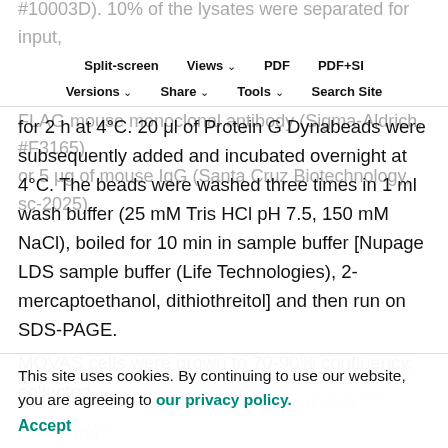#10003D). 10% of the lysates were separated for input, and equal amounts were incubated with either 5 μg of M2 FLAG mouse monoclonal antibody (Sigma-Aldrich, #F3165) or 5 μg of mouse IgG (Santa Cruz Biotechnology, sc-2025)
Split-screen | Views | PDF | PDF+SI | Versions | Share | Tools | Search Site
for 2 h at 4°C. 20 μl of Protein G Dynabeads were subsequently added and incubated overnight at 4°C. The beads were washed three times in 1 ml wash buffer (25 mM Tris HCl pH 7.5, 150 mM NaCl), boiled for 10 min in sample buffer [Nupage LDS sample buffer (Life Technologies), 2-mercaptoethanol, dithiothreitol] and then run on SDS-PAGE.
MOVAS cells were grown to 70-90% confluency, collected
in IP lysis buffer and pre-cleared as described above. 10% of the lysates were separated for input and equal amounts were incubated with either 17 mg/ml of anti-NOTCH1 (cleaved N-terminal) rabbit polyclonal sera (Rockland,
This site uses cookies. By continuing to use our website, you are agreeing to our privacy policy.
Accept